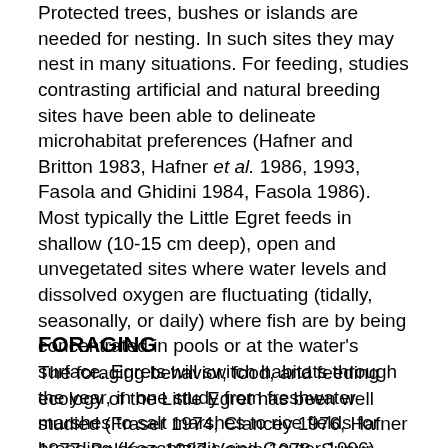Protected trees, bushes or islands are needed for nesting. In such sites they may nest in many situations. For feeding, studies contrasting artificial and natural breeding sites have been able to delineate microhabitat preferences (Hafner and Britton 1983, Hafner et al. 1986, 1993, Fasola and Ghidini 1984, Fasola 1986). Most typically the Little Egret feeds in shallow (10-15 cm deep), open and unvegetated sites where water levels and dissolved oxygen are fluctuating (tidally, seasonally, or daily) where fish are by being concentrated in pools or at the water's surface. Egrets will switch habitats through the year, in one study from freshwater marshes to salt marshes to rice fields for breeding (Kazantzidis and Gouter 1996).
FORAGING
The foraging behavior, food, and feeding ecology of the Little Egret has been well studied (Fraser 1974, Clancey 1976, Hafner 1977, Balanca 1987, Voisin 1978, Sueur 1979, Hafner et al. 1982, Fasola et al. 1981, Fasola 1982,